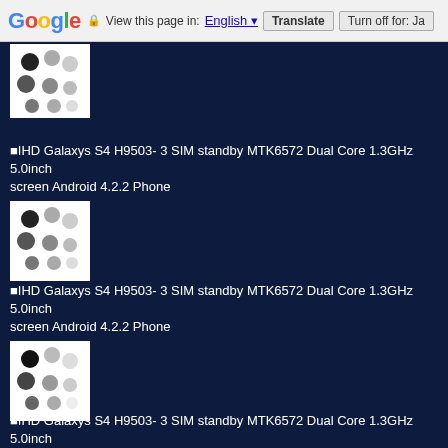Google — View this page in: English [▼] Translate | Turn off for: Ja
[Figure (photo): Small thumbnail image of phone color swatches (dots pattern on white background) - partially visible at top]
■IHD Galaxys S4 H9503- 3 SIM standby MTK6572 Dual Core 1.3GHz 5.0inch screen Android 4.2.2 Phone
[Figure (photo): Small thumbnail image of phone color swatches (dots pattern on white background)]
■IHD Galaxys S4 H9503- 3 SIM standby MTK6572 Dual Core 1.3GHz 5.0inch screen Android 4.2.2 Phone
[Figure (photo): Small thumbnail image of phone color swatches (dots pattern on white background)]
■IHD Galaxys S4 H9503- 3 SIM standby MTK6572 Dual Core 1.3GHz 5.0inch screen Android 4.2.2 Phone
[Figure (photo): Small thumbnail image of phone color swatches (dots pattern on white background)]